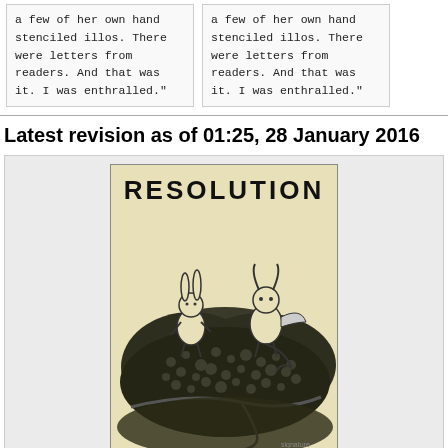a few of her own hand stenciled illos. There were letters from readers. And that was it. I was enthralled."
a few of her own hand stenciled illos. There were letters from readers. And that was it. I was enthralled."
Latest revision as of 01:25, 28 January 2016
[Figure (illustration): Cover of a zine titled 'RESOLUTION' in bold stencil-style lettering. Below the title is a black and white illustration of two anthropomorphic rabbit-like creatures standing among dense foliage/bushes, with a rope or vine visible in the foreground.]